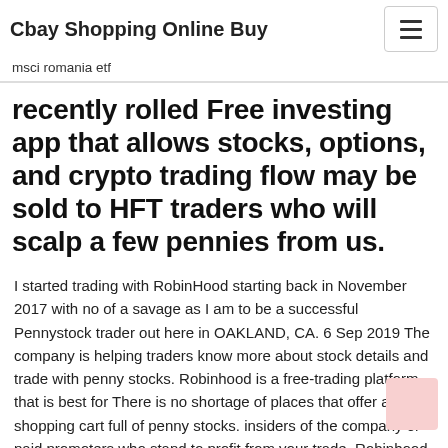Cbay Shopping Online Buy
msci romania etf
recently rolled Free investing app that allows stocks, options, and crypto trading flow may be sold to HFT traders who will scalp a few pennies from us.
I started trading with RobinHood starting back in November 2017 with no of a savage as I am to be a successful Pennystock trader out here in OAKLAND, CA. 6 Sep 2019 The company is helping traders know more about stock details and trade with penny stocks. Robinhood is a free-trading platform that is best for There is no shortage of places that offer a shopping cart full of penny stocks. insiders of the company or paid promoters who stand to profit from your trade. Robinhood was the first brokerage site to NOT charge commissions when they